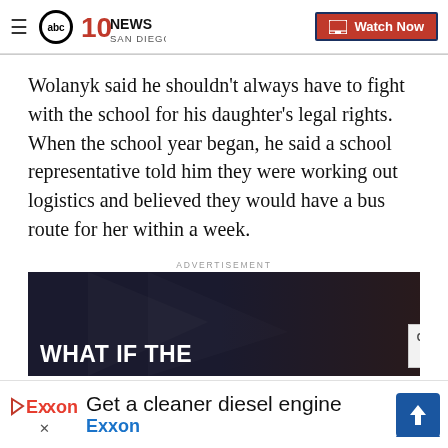10 News San Diego — Watch Now
Wolanyk said he shouldn't always have to fight with the school for his daughter's legal rights. When the school year began, he said a school representative told him they were working out logistics and believed they would have a bus route for her within a week.
ADVERTISEMENT
[Figure (photo): Advertisement banner showing a person's face in dark lighting with text 'WHAT IF THE' in bold white letters. A 'CLOSE' button appears at the right edge.]
[Figure (advertisement): Bottom banner ad: Exxon logo on the left, 'Get a cleaner diesel engine' headline, 'Exxon' subtext in blue, navigation arrow icon on the right.]